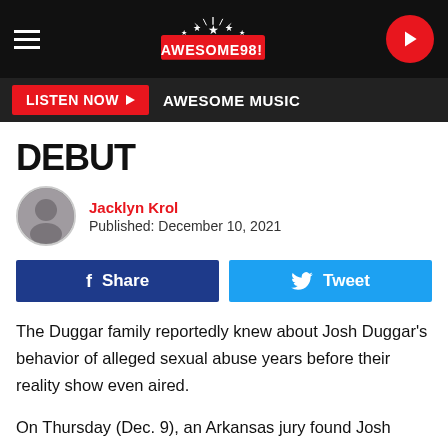Awesome 98 — navigation bar with hamburger menu, logo, and play button
LISTEN NOW ▶  AWESOME MUSIC
DEBUT
Jacklyn Krol
Published: December 10, 2021
f Share   Tweet
The Duggar family reportedly knew about Josh Duggar's behavior of alleged sexual abuse years before their reality show even aired.
On Thursday (Dec. 9), an Arkansas jury found Josh Duggar guilty on two counts of downloading and possessing child pornography. A former family friend, Bobye Holt, testified that Josh came to her twice and confessed that he sexually